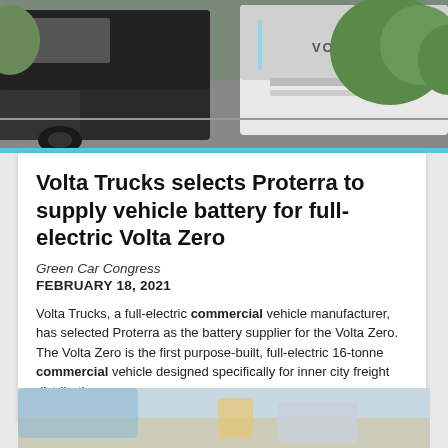[Figure (photo): Electric Volta truck in white with VOLTA branding parked outdoors near green hedge]
Volta Trucks selects Proterra to supply vehicle battery for full-electric Volta Zero
Green Car Congress
FEBRUARY 18, 2021
Volta Trucks, a full-electric commercial vehicle manufacturer, has selected Proterra as the battery supplier for the Volta Zero. The Volta Zero is the first purpose-built, full-electric 16-tonne commercial vehicle designed specifically for inner city freight distribution.
[Figure (photo): Partial view of person at table with tablet or device, bottom of page]